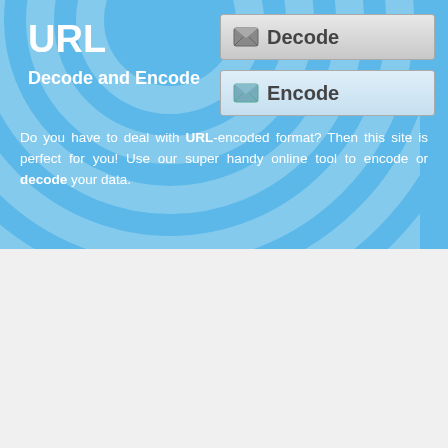URL
Decode and Encode
[Figure (screenshot): Decode button with envelope icon, gradient gray background]
[Figure (screenshot): Encode button with envelope icon, gradient blue background]
Do you have to deal with URL-encoded format? Then this site is perfect for you! Use our super handy online tool to encode or decode your data.
URL Decoding of "drays"
Simply enter your data then push the decode button.
drays